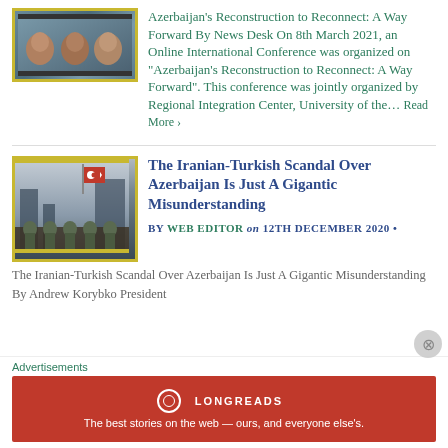[Figure (photo): Online conference screenshot showing multiple participants on video call]
Azerbaijan's Reconstruction to Reconnect: A Way Forward By News Desk On 8th March 2021, an Online International Conference was organized on "Azerbaijan's Reconstruction to Reconnect: A Way Forward". This conference was jointly organized by Regional Integration Center, University of the... Read More ›
[Figure (photo): Soldiers marching in military parade with Turkish flag visible in background]
The Iranian-Turkish Scandal Over Azerbaijan Is Just A Gigantic Misunderstanding
BY WEB EDITOR on 12TH DECEMBER 2020 •
The Iranian-Turkish Scandal Over Azerbaijan Is Just A Gigantic Misunderstanding By Andrew Korybko President
Advertisements
[Figure (other): Longreads advertisement banner in red: The best stories on the web — ours, and everyone else's.]